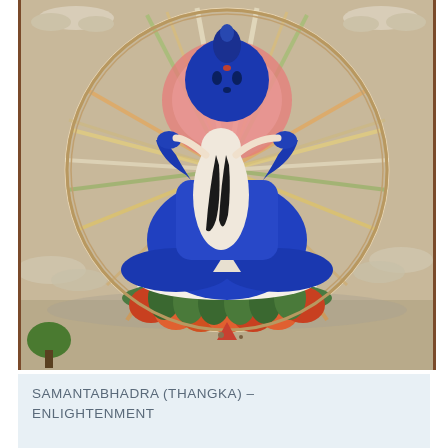[Figure (illustration): Tibetan thangka painting of Samantabhadra (Kuntuzangpo), the primordial Buddha, depicted in blue with his white consort in yab-yum (union) posture, seated in lotus position on a colorful lotus throne with orange, red, and green petals. A large rainbow mandala halo radiates behind the figure. The background is a beige/tan landscape with clouds and small trees.]
SAMANTABHADRA (THANGKA) – ENLIGHTENMENT